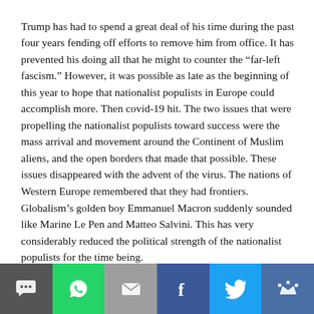Trump has had to spend a great deal of his time during the past four years fending off efforts to remove him from office. It has prevented his doing all that he might to counter the “far-left fascism.” However, it was possible as late as the beginning of this year to hope that nationalist populists in Europe could accomplish more. Then covid-19 hit. The two issues that were propelling the nationalist populists toward success were the mass arrival and movement around the Continent of Muslim aliens, and the open borders that made that possible. These issues disappeared with the advent of the virus. The nations of Western Europe remembered that they had frontiers. Globalism’s golden boy Emmanuel Macron suddenly sounded like Marine Le Pen and Matteo Salvini. This has very considerably reduced the political strength of the nationalist populists for the time being.
As baneful as is the influence of cultural Marxism, I believe that at least in the U.S. another factor accounts more importantly for the new barbarism we see in the streets and nearly everywhere else. That is the breakdown of the family, the basic unit of society.
[Figure (infographic): Social media share bar at the bottom with buttons for SMS, WhatsApp, Email, Facebook, Twitter, and another platform]